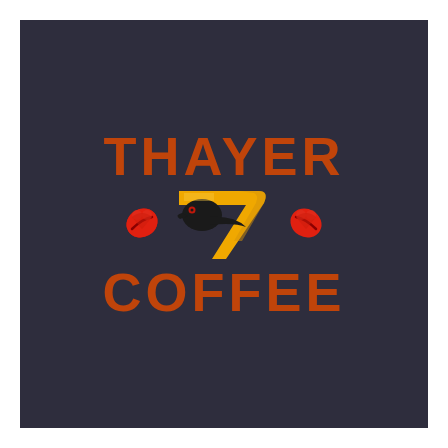[Figure (logo): Thayer Coffee logo on dark navy/charcoal background. Text 'THAYER' in bold orange-red letters on top, then a middle row with a red coffee bean icon on left, a golden/yellow stylized number 7 shape with a black bird (crow/raven) head, and a red coffee bean icon on right. Below that 'COFFEE' in bold orange-red letters.]